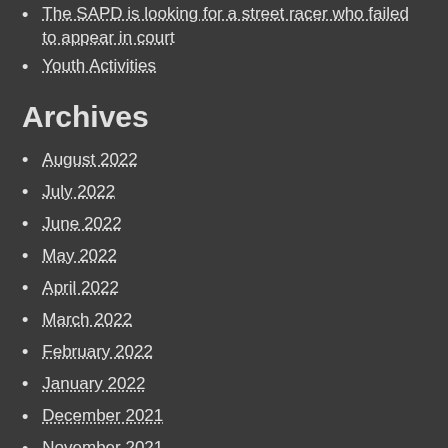The SAPD is looking for a street racer who failed to appear in court
Youth Activities
Archives
August 2022
July 2022
June 2022
May 2022
April 2022
March 2022
February 2022
January 2022
December 2021
November 2021
October 2021
September 2021
August 2021
July 2021
June 2021
May 2021
April 2021